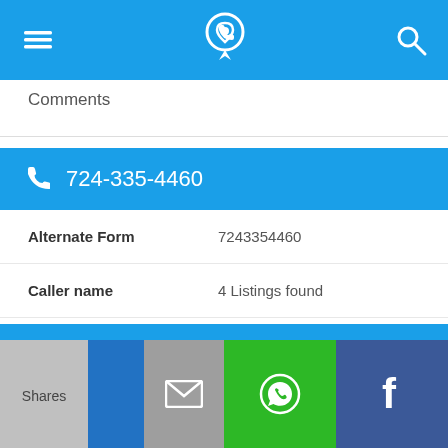[Figure (screenshot): Mobile app top navigation bar with hamburger menu, phone/location icon, and search icon on blue background]
Comments
724-335-4460
| Field | Value |
| --- | --- |
| Alternate Form | 7243354460 |
| Caller name | 4 Listings found |
| Last User Search | No searches yet |
Comments
[Figure (screenshot): Bottom share bar with Shares button, email icon (grey), WhatsApp icon (green), Facebook icon (dark blue)]